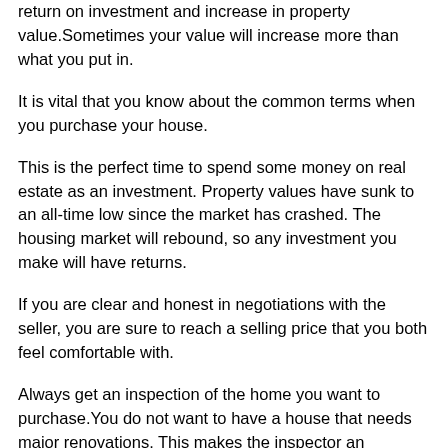return on investment and increase in property value.Sometimes your value will increase more than what you put in.
It is vital that you know about the common terms when you purchase your house.
This is the perfect time to spend some money on real estate as an investment. Property values have sunk to an all-time low since the market has crashed. The housing market will rebound, so any investment you make will have returns.
If you are clear and honest in negotiations with the seller, you are sure to reach a selling price that you both feel comfortable with.
Always get an inspection of the home you want to purchase.You do not want to have a house that needs major renovations. This makes the inspector an extremely cost-